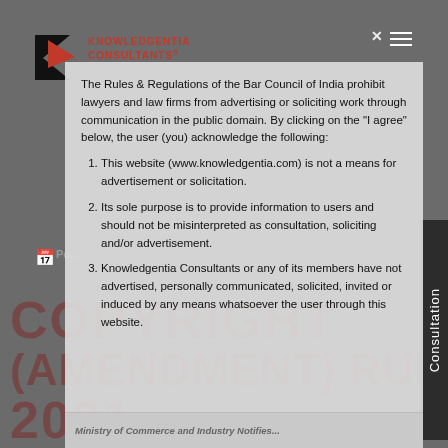[Figure (logo): Knowledgentia Consultants logo with red K arrow icon and company name]
The Rules & Regulations of the Bar Council of India prohibit lawyers and law firms from advertising or soliciting work through communication in the public domain. By clicking on the "I agree" below, the user (you) acknowledge the following:
1. This website (www.knowledgentia.com) is not a means for advertisement or solicitation.
2. Its sole purpose is to provide information to users and should not be misinterpreted as consultation, soliciting and/or advertisement.
3. Knowledgentia Consultants or any of its members have not advertised, personally communicated, solicited, invited or induced by any means whatsoever the user through this website.
Ministry of Commerce and Industry Notifies...